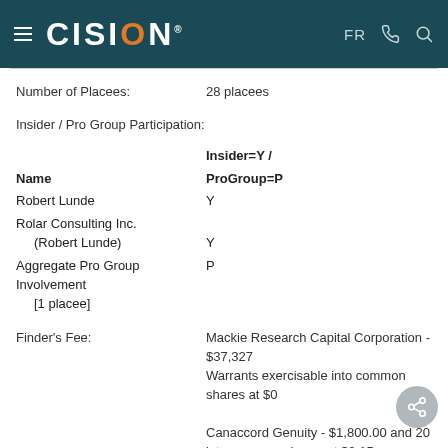CISION | FR
Number of Placees: 28 placees
Insider / Pro Group Participation:
| Name | Insider=Y / ProGroup=P |
| --- | --- |
| Robert Lunde | Y |
| Rolar Consulting Inc.
    (Robert Lunde) | Y |
| Aggregate Pro Group Involvement
    [1 placee] | P |
Finder's Fee: Mackie Research Capital Corporation - $37,327... Warrants exercisable into common shares at $0... Canaccord Genuity - $1,800.00 and 20... into common shares at $0.15 per share fo...12